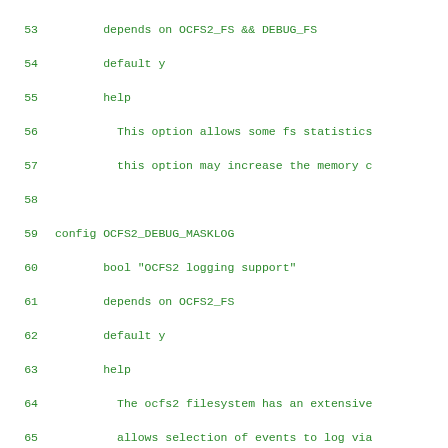53    depends on OCFS2_FS && DEBUG_FS
54    default y
55    help
56        This option allows some fs statistics
57        this option may increase the memory c
58
59 config OCFS2_DEBUG_MASKLOG
60    bool "OCFS2 logging support"
61    depends on OCFS2_FS
62    default y
63    help
64        The ocfs2 filesystem has an extensive
65        allows selection of events to log via
66        This option will enlarge your kernel,
67        ocfs2 filesystem issues.
68
69 config OCFS2_DEBUG_FS
70    bool "OCFS2 expensive checks"
71    depends on OCFS2_FS
72    default n
73    help
74        ...